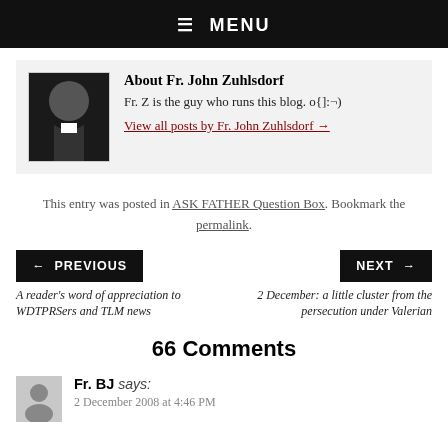☰ MENU
[Figure (photo): Author photo of Fr. John Zuhlsdorf wearing clerical collar]
About Fr. John Zuhlsdorf
Fr. Z is the guy who runs this blog. o{]:¬)
View all posts by Fr. John Zuhlsdorf →
This entry was posted in ASK FATHER Question Box. Bookmark the permalink.
← PREVIOUS
NEXT →
A reader's word of appreciation to WDTPRSers and TLM news
2 December: a little cluster from the persecution under Valerian
66 Comments
Fr. BJ says:
2 December 2008 at 4:46 PM